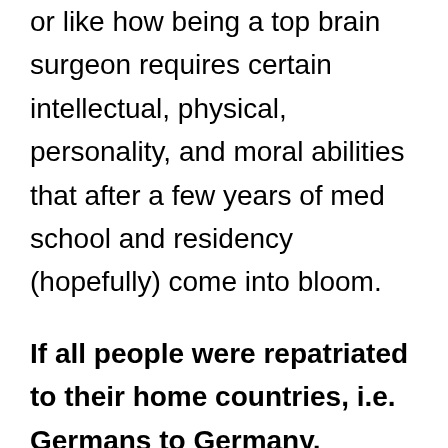or like how being a top brain surgeon requires certain intellectual, physical, personality, and moral abilities that after a few years of med school and residency (hopefully) come into bloom.
If all people were repatriated to their home countries, i.e. Germans to Germany, wouldn't only Native Americans–not Western Europeans–remain in the U.S.?